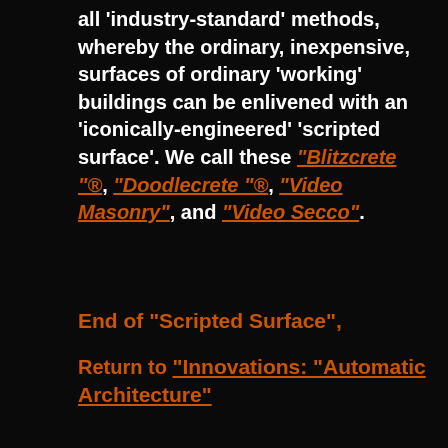all 'industry-standard' methods, whereby the ordinary, inexpensive, surfaces of ordinary 'working' buildings can be enlivened with an 'iconically-engineered' 'scripted surface'. We call these "Blitzcrete "®, "Doodlecrete "®, "Video Masonry", and "Video Secco".
End of "Scripted Surface",
Return to "Innovations: "Automatic Architecture"
* JOA can be reached by E-Mail at anthony@johnoutram.com , by telephone on +44 (0)207 262 4862 or by fax on +44 (0)207 706 3804. We also have an ISDN number : +44 (0)207 262